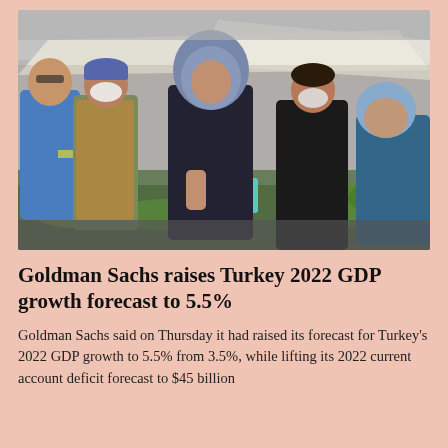[Figure (photo): People at an outdoor market or bazaar, several wearing face masks, examining vegetables and produce. A price sign in Turkish lira is visible. Scene appears to be in Turkey.]
Goldman Sachs raises Turkey 2022 GDP growth forecast to 5.5%
Goldman Sachs said on Thursday it had raised its forecast for Turkey's 2022 GDP growth to 5.5% from 3.5%, while lifting its 2022 current account deficit forecast to $45 billion